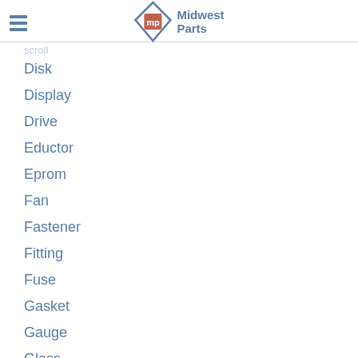[Figure (logo): Midwest Parts logo with diamond shape containing an orange-red 'mp' icon and blue text 'Midwest Parts' to the right. Three horizontal blue lines (hamburger menu) on the left.]
Disk
Display
Drive
Eductor
Eprom
Fan
Fastener
Fitting
Fuse
Gasket
Gauge
Glass